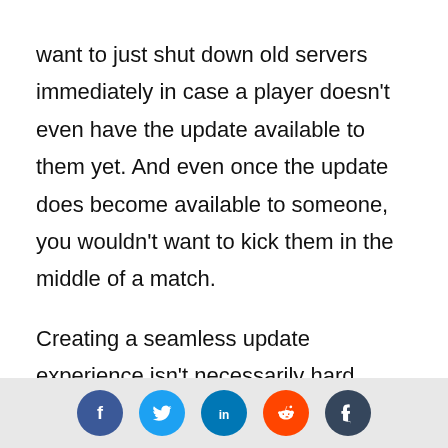want to just shut down old servers immediately in case a player doesn't even have the update available to them yet. And even once the update does become available to someone, you wouldn't want to kick them in the middle of a match.

Creating a seamless update experience isn't necessarily hard, though it does require some forethought and planning. We settled on a setup that accepts matches for both old and new versions during the update window, keeping the old servers around so players can finish their match. We allow clients to
[Figure (infographic): Social media share icons row: Facebook (blue circle, f), Twitter (light blue circle, bird), LinkedIn (blue circle, in), Reddit (orange circle, alien), Tumblr (dark circle, t)]